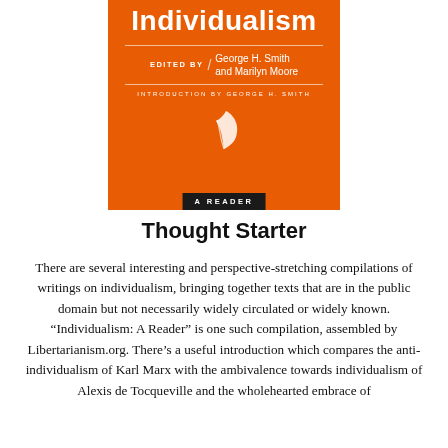[Figure (illustration): Book cover for 'Individualism: A Reader', orange background, edited by George H. Smith and Marilyn Moore, introduction by George H. Smith, with a white feather/quill logo and a dark 'A READER' badge at the bottom.]
Thought Starter
There are several interesting and perspective-stretching compilations of writings on individualism, bringing together texts that are in the public domain but not necessarily widely circulated or widely known. “Individualism: A Reader” is one such compilation, assembled by Libertarianism.org. There’s a useful introduction which compares the anti-individualism of Karl Marx with the ambivalence towards individualism of Alexis de Tocqueville and the wholehearted embrace of